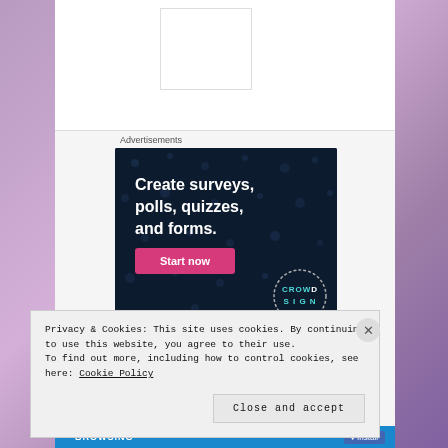Advertisements
[Figure (illustration): Dark navy blue advertisement banner for CrowdSignal/survey tool. Text reads 'Create surveys, polls, quizzes, and forms.' with a pink 'Start now' button and a circular dotted logo badge in the bottom right.]
Privacy & Cookies: This site uses cookies. By continuing to use this website, you agree to their use.
To find out more, including how to control cookies, see here: Cookie Policy
Close and accept